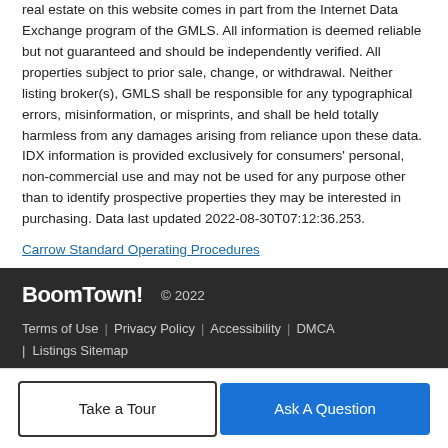real estate on this website comes in part from the Internet Data Exchange program of the GMLS. All information is deemed reliable but not guaranteed and should be independently verified. All properties subject to prior sale, change, or withdrawal. Neither listing broker(s), GMLS shall be responsible for any typographical errors, misinformation, or misprints, and shall be held totally harmless from any damages arising from reliance upon these data. IDX information is provided exclusively for consumers' personal, non-commercial use and may not be used for any purpose other than to identify prospective properties they may be interested in purchasing. Data last updated 2022-08-30T07:12:36.253.
Carrow Standard Operating Procedures
BoomTown! © 2022 Terms of Use | Privacy Policy | Accessibility | DMCA | Listings Sitemap